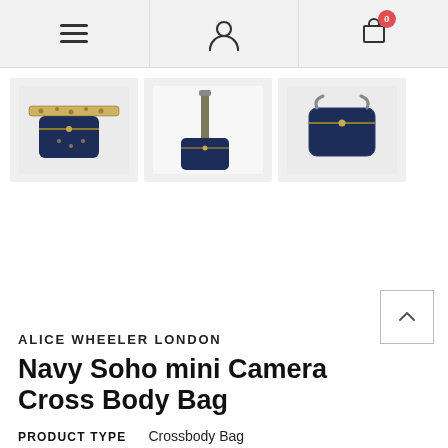Navigation bar with menu, account, and cart (0 items) icons
[Figure (photo): Three product thumbnail images of a navy mini camera crossbody bag: front view with leopard print strap, full-length strap view, and side/back view]
ALICE WHEELER LONDON
Navy Soho mini Camera Cross Body Bag
| PRODUCT TYPE |  |
| --- | --- |
| PRODUCT TYPE | Crossbody Bag |